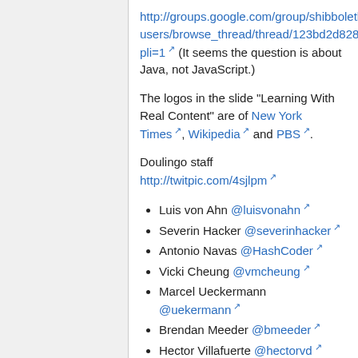http://groups.google.com/group/shibboleth-users/browse_thread/thread/123bd2d82822a3a7?pli=1 (It seems the question is about Java, not JavaScript.)
The logos in the slide "Learning With Real Content" are of New York Times, Wikipedia and PBS.
Doulingo staff http://twitpic.com/4sjlpm
Luis von Ahn @luisvonahn
Severin Hacker @severinhacker
Antonio Navas @HashCoder
Vicki Cheung @vmcheung
Marcel Ueckermann @uekermann
Brendan Meeder @bmeeder
Hector Villafuerte @hectorvd
Jose Fuentes @josefuents